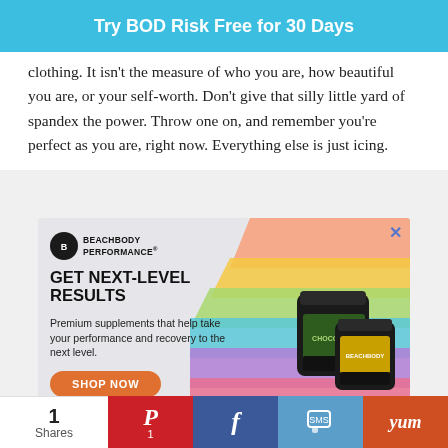Try BOD Risk Free for 30 Days
clothing. It isn't the measure of who you are, how beautiful you are, or your self-worth. Don't give that silly little yard of spandex the power. Throw one on, and remember you're perfect as you are, right now. Everything else is just icing.
[Figure (infographic): Beachbody Performance advertisement. Headline: GET NEXT-LEVEL RESULTS. Subtext: Premium supplements that help take your performance and recovery to the next level. Orange SHOP NOW button. Two dark supplement jars on the right. Colorful diagonal stripes in background.]
1 Shares | Pinterest | Facebook | SMS | Yum